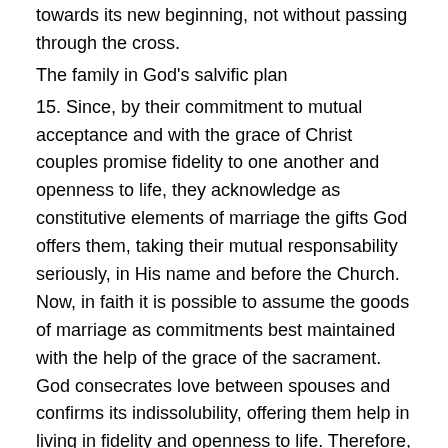towards its new beginning, not without passing through the cross.
The family in God's salvific plan
15. Since, by their commitment to mutual acceptance and with the grace of Christ couples promise fidelity to one another and openness to life, they acknowledge as constitutive elements of marriage the gifts God offers them, taking their mutual responsability seriously, in His name and before the Church. Now, in faith it is possible to assume the goods of marriage as commitments best maintained with the help of the grace of the sacrament. God consecrates love between spouses and confirms its indissolubility, offering them help in living in fidelity and openness to life. Therefore, the gaze of the Church turns not only to the couple, but to the family.
16. We are able to distinguish three fundamental phases